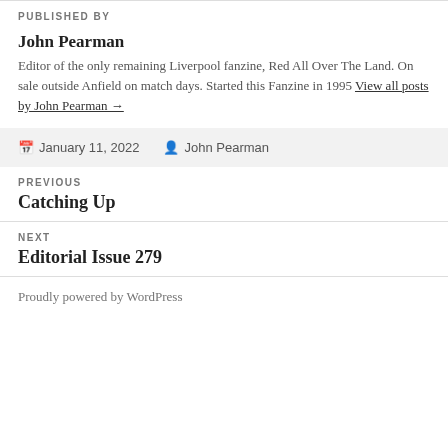PUBLISHED BY
John Pearman
Editor of the only remaining Liverpool fanzine, Red All Over The Land. On sale outside Anfield on match days. Started this Fanzine in 1995 View all posts by John Pearman →
January 11, 2022  John Pearman
PREVIOUS
Catching Up
NEXT
Editorial Issue 279
Proudly powered by WordPress